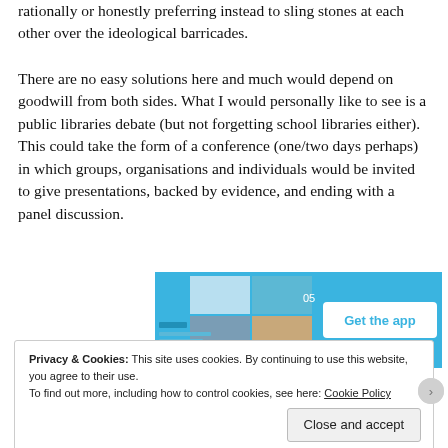rationally or honestly preferring instead to sling stones at each other over the ideological barricades.
There are no easy solutions here and much would depend on goodwill from both sides. What I would personally like to see is a public libraries debate (but not forgetting school libraries either). This could take the form of a conference (one/two days perhaps) in which groups, organisations and individuals would be invited to give presentations, backed by evidence, and ending with a panel discussion.
[Figure (screenshot): App promotion banner with blue background showing '05' and 'Get the app' button]
Privacy & Cookies: This site uses cookies. By continuing to use this website, you agree to their use.
To find out more, including how to control cookies, see here: Cookie Policy
Close and accept